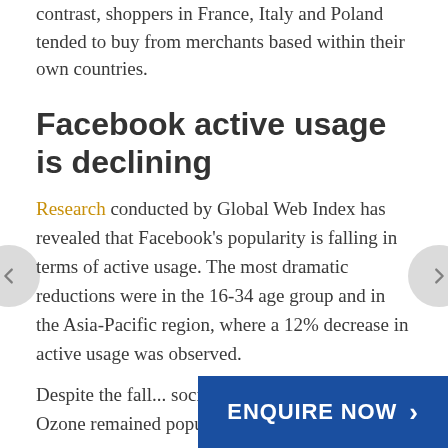contrast, shoppers in France, Italy and Poland tended to buy from merchants based within their own countries.
Facebook active usage is declining
Research conducted by Global Web Index has revealed that Facebook's popularity is falling in terms of active usage. The most dramatic reductions were in the 16-34 age group and in the Asia-Pacific region, where a 12% decrease in active usage was observed.
Despite the fall... social network... Ozone remained popular in Asia